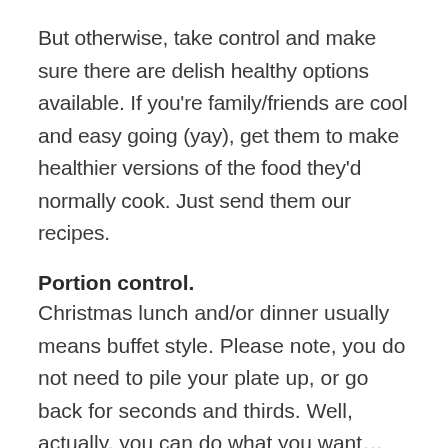But otherwise, take control and make sure there are delish healthy options available. If you're family/friends are cool and easy going (yay), get them to make healthier versions of the food they'd normally cook. Just send them our recipes.
Portion control.
Christmas lunch and/or dinner usually means buffet style. Please note, you do not need to pile your plate up, or go back for seconds and thirds. Well, actually, you can do what you want… BUT since when does overeating make you feel good? Yeh, it never ever does!